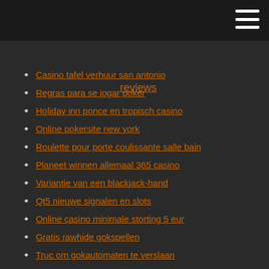Casino tafel verhuur san antonio
Regras para se jogar poker
Holiday inn ponce en tropisch casino
Online pokersite new york
Roulette pour porte coulissante salle bain
Planeet winnen allemaal 365 casino
Variantie van een blackjack-hand
Qt5 nieuwe signalen en slots
Online casino minimale storting 5 eur
Gratis rawhide gokspellen
Truc om gokautomaten te verslaan
Download rad van fortuin gratis online
Nieuwe casinospellen zonder stortingsbonus